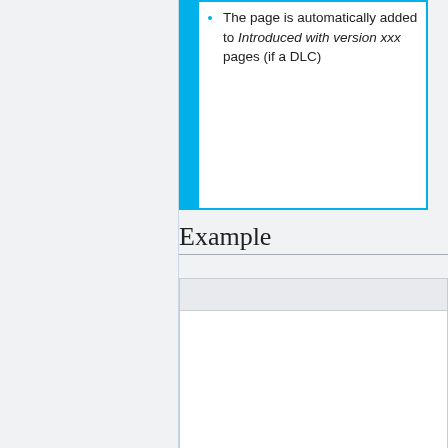The page is automatically added to Introduced with version xxx pages (if a DLC)
Example
[Figure (screenshot): A UI frame/box with a grey header bar and white content area below, representing an example panel or embedded content area.]